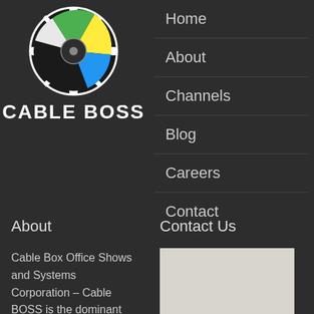[Figure (logo): Cable Boss logo: circular film reel graphic with colored sections (green, yellow, blue, white) and the text CABLE BOSS below in bold white capitals]
Home
About
Channels
Blog
Careers
Contact
About
Cable Box Office Shows and Systems Corporation – Cable BOSS is the dominant network distributor in the Philippines
Contact Us
[Figure (map): Gray map area placeholder for contact location map]